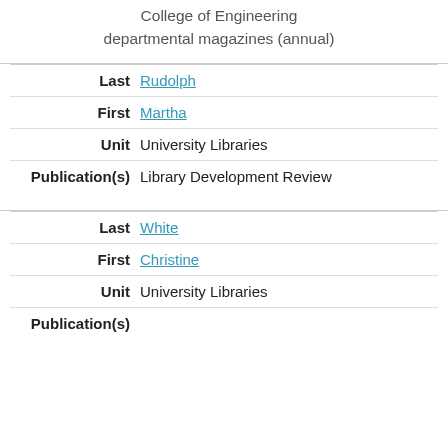College of Engineering departmental magazines (annual)
| Field | Value |
| --- | --- |
| Last | Rudolph |
| First | Martha |
| Unit | University Libraries |
| Publication(s) | Library Development Review |
| Field | Value |
| --- | --- |
| Last | White |
| First | Christine |
| Unit | University Libraries |
| Publication(s) |  |